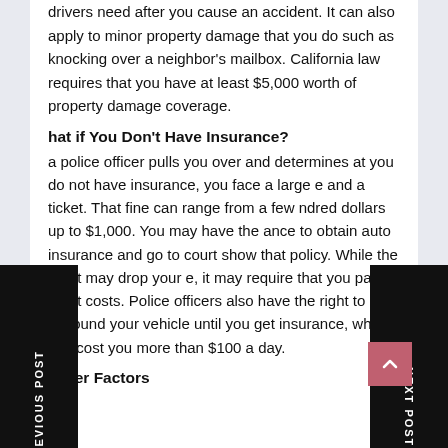drivers need after you cause an accident. It can also apply to minor property damage that you do such as knocking over a neighbor's mailbox. California law requires that you have at least $5,000 worth of property damage coverage.
What if You Don't Have Insurance?
If a police officer pulls you over and determines that you do not have insurance, you face a large fine and a ticket. That fine can range from a few hundred dollars up to $1,000. You may have the chance to obtain auto insurance and go to court to show that policy. While the court may drop your fine, it may require that you pay all court costs. Police officers also have the right to impound your vehicle until you get insurance, which can cost you more than $100 a day.
Other Factors